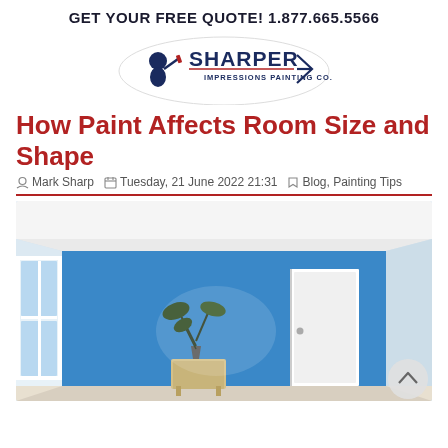GET YOUR FREE QUOTE! 1.877.665.5566
[Figure (logo): Sharper Impressions Painting Co. logo with painter mascot and arrow design]
How Paint Affects Room Size and Shape
Mark Sharp   Tuesday, 21 June 2022 21:31   Blog, Painting Tips
[Figure (photo): Interior room photo showing a blue accent wall with a white door on the right, a window on the left, a plant on a small dresser, and a white ceiling with crown molding.]